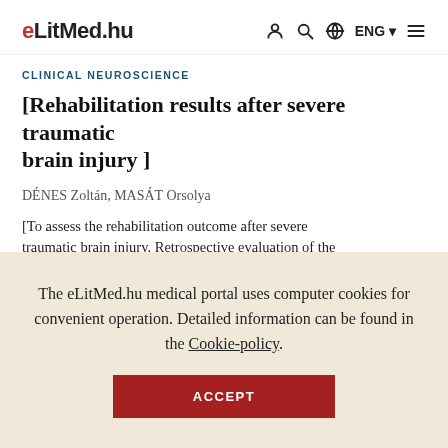eLitMed.hu — navigation: account, search, globe, ENG, menu
CLINICAL NEUROSCIENCE
[Rehabilitation results after severe traumatic brain injury ]
DÉNES Zoltán, MASÁT Orsolya
[To assess the rehabilitation outcome after severe traumatic brain injury. Retrospective evaluation of the
The eLitMed.hu medical portal uses computer cookies for convenient operation. Detailed information can be found in the Cookie-policy.
ACCEPT